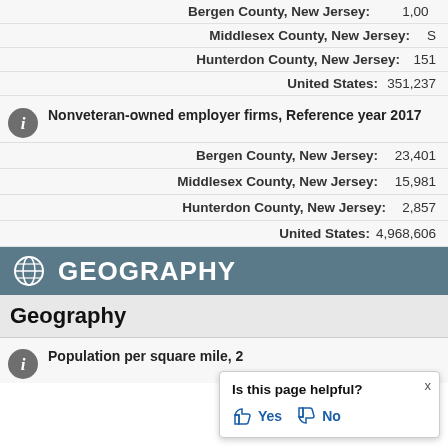Bergen County, New Jersey: 1,00[truncated]
Middlesex County, New Jersey: S
Hunterdon County, New Jersey: 151
United States: 351,237
Nonveteran-owned employer firms, Reference year 2017
Bergen County, New Jersey: 23,401
Middlesex County, New Jersey: 15,981
Hunterdon County, New Jersey: 2,857
United States: 4,968,606
GEOGRAPHY
Geography
Population per square mile, 2[truncated]